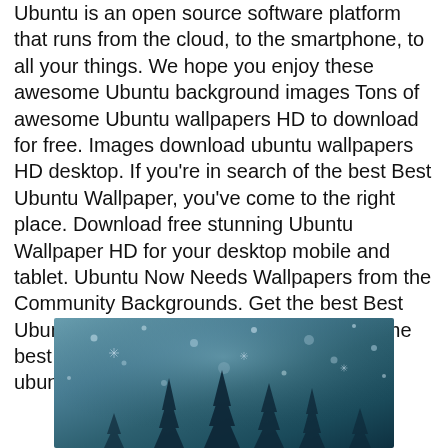Ubuntu is an open source software platform that runs from the cloud, to the smartphone, to all your things. We hope you enjoy these awesome Ubuntu background images Tons of awesome Ubuntu wallpapers HD to download for free. Images download ubuntu wallpapers HD desktop. If you're in search of the best Best Ubuntu Wallpaper, you've come to the right place. Download free stunning Ubuntu Wallpaper HD for your desktop mobile and tablet. Ubuntu Now Needs Wallpapers from the Community Backgrounds. Get the best Best Ubuntu Wallpaper on WallpaperSet. Only the best HD background pictures. Download ubuntu pictures, photos and images.
[Figure (photo): A blueish-teal winter/night scene photo with snowflake bokeh effects and dark silhouetted tree shapes at the bottom, partially visible (cropped at bottom of page).]